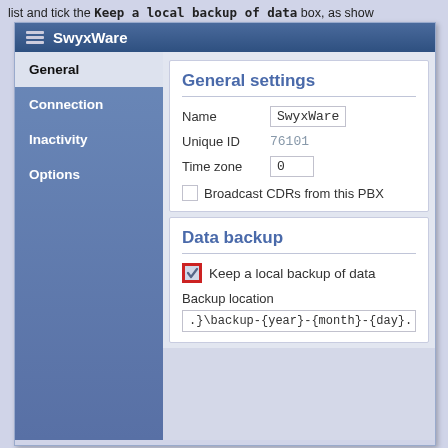list and tick the Keep a local backup of data box, as show
[Figure (screenshot): SwyxWare application window showing General settings panel with navigation items (General, Connection, Inactivity, Options) on the left, and two sections on the right: 'General settings' with fields for Name (SwyxWare), Unique ID (76101), Time zone (0), and a Broadcast CDRs checkbox; and 'Data backup' section with a red-highlighted checked checkbox labeled 'Keep a local backup of data', a Backup location label, and a path field showing '.}\backup-{year}-{month}-{day}.']